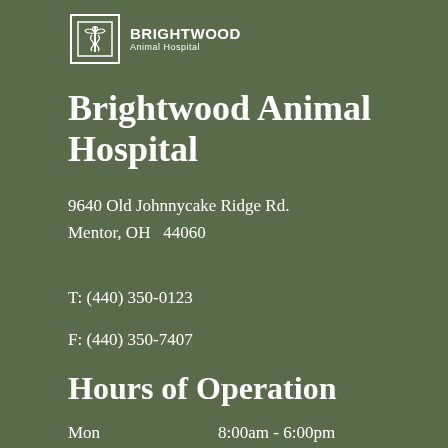[Figure (logo): Brightwood Animal Hospital logo with caduceus icon in a square border, text BRIGHTWOOD Animal Hospital]
Brightwood Animal Hospital
9640 Old Johnnycake Ridge Rd.
Mentor, OH  44060
T: (440) 350-0123
F: (440) 350-7407
Hours of Operation
| Day | Hours |
| --- | --- |
| Mon | 8:00am - 6:00pm |
| Tue | 8:00am - 1:00pm |
| Wed | 8:00am - 6:00pm |
| Thu | 8:00am - 6:00pm |